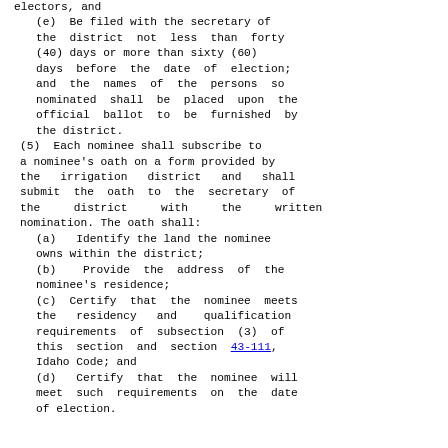electors, and
(e)  Be filed with the secretary of the district not less than forty (40) days or more than sixty (60) days before the date of election; and the names of the persons so nominated shall be placed upon the official ballot to be furnished by the district.
(5)  Each nominee shall subscribe to a nominee's oath on a form provided by the irrigation district and shall submit the oath to the secretary of the district with the written nomination. The oath shall:
(a)   Identify the land the nominee owns within the district;
(b)    Provide the address of the nominee's residence;
(c)  Certify that the nominee meets the residency and qualification requirements of subsection (3) of this section and section 43-111, Idaho Code; and
(d)   Certify that the nominee will meet such requirements on the date of election.